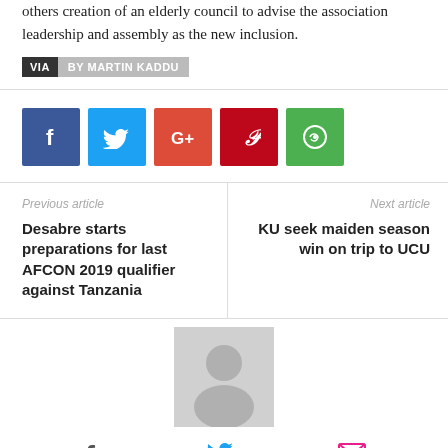others creation of an elderly council to advise the association leadership and assembly as the new inclusion.
VIA  BY MARTIN KADDU
[Figure (other): Social media share buttons: Facebook (blue), Twitter (light blue), Google+ (red-orange), Pinterest (red), WhatsApp (green)]
Previous article
Desabre starts preparations for last AFCON 2019 qualifier against Tanzania
Next article
KU seek maiden season win on trip to UCU
[Figure (photo): Author profile placeholder image (gray silhouette) with social media icons below: Facebook (gray), Twitter (blue), Email (pink)]